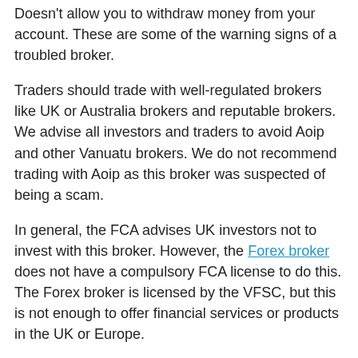Doesn't allow you to withdraw money from your account. These are some of the warning signs of a troubled broker.
Traders should trade with well-regulated brokers like UK or Australia brokers and reputable brokers. We advise all investors and traders to avoid Aoip and other Vanuatu brokers. We do not recommend trading with Aoip as this broker was suspected of being a scam.
In general, the FCA advises UK investors not to invest with this broker. However, the Forex broker does not have a compulsory FCA license to do this. The Forex broker is licensed by the VFSC, but this is not enough to offer financial services or products in the UK or Europe.